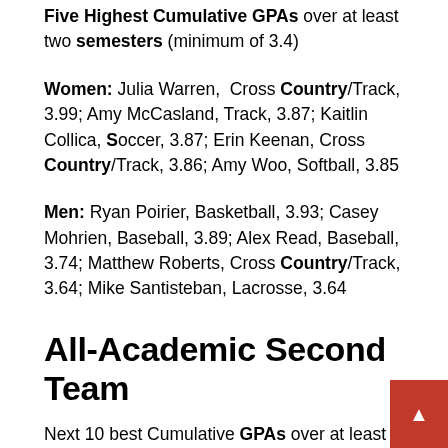Five Highest Cumulative GPAs over at least two semesters (minimum of 3.4)
Women: Julia Warren, Cross Country/Track, 3.99; Amy McCasland, Track, 3.87; Kaitlin Collica, Soccer, 3.87; Erin Keenan, Cross Country/Track, 3.86; Amy Woo, Softball, 3.85
Men: Ryan Poirier, Basketball, 3.93; Casey Mohrien, Baseball, 3.89; Alex Read, Baseball, 3.74; Matthew Roberts, Cross Country/Track, 3.64; Mike Santisteban, Lacrosse, 3.64
All-Academic Second Team
Next 10 best Cumulative GPAs over at least two semesters (minimum of 3.1)
Women: Shannon Flattery, Hockey; Kristin Casse,